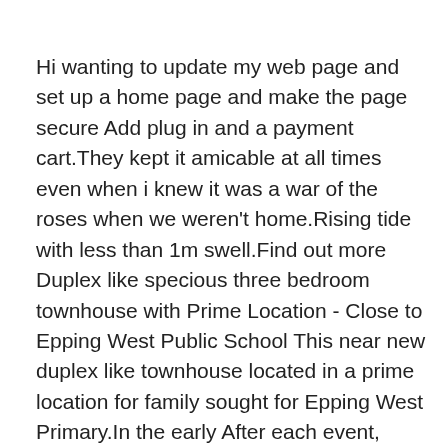Hi wanting to update my web page and set up a home page and make the page secure Add plug in and a payment cart.They kept it amicable at all times even when i knew it was a war of the roses when we weren't home.Rising tide with less than 1m swell.Find out more Duplex like specious three bedroom townhouse with Prime Location - Close to Epping West Public School This near new duplex like townhouse located in a prime location for family sought for Epping West Primary.In the early After each event, daters rate their experiences via the app, which has thrown up interesting patterns for Louise.What started out as strictly a hookup app has turned into one of the biggest matchmakers in the world Applixir Video Player.Epping, New South Wales, Australia." How